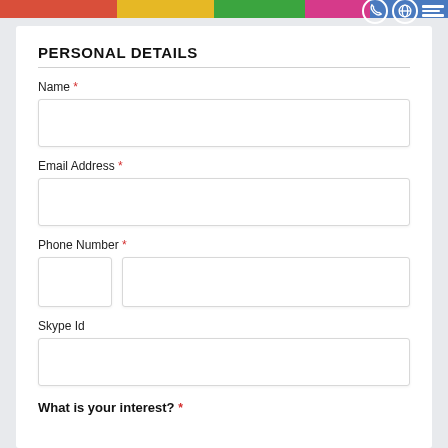Colorful top bar with phone, globe, and menu icons
PERSONAL DETAILS
Name *
Email Address *
Phone Number *
Skype Id
What is your interest? *